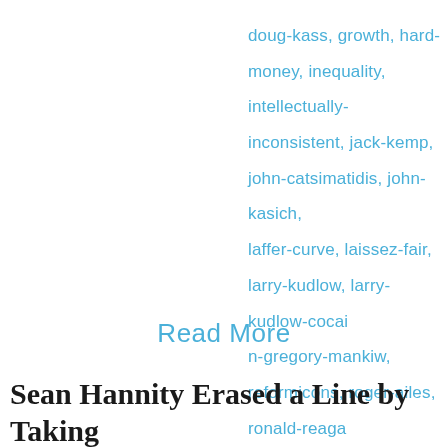doug-kass, growth, hard-money, inequality, intellectually-inconsistent, jack-kemp, john-catsimatidis, john-kasich, laffer-curve, laissez-fair, larry-kudlow, larry-kudlow-cocaine, n-gregory-mankiw, reformicons, roger-ailes, ronald-reagan, rudolf-giuliani, stephen-bannon, stephen-moore, stephen-moore-unfit, steve-forbes, supply-side-economics, supply-side-four-musketeers, taxes-wealthy, toxic, trump-unserious, unserious, water-carrier-for-rich, world-bank
Read More
Sean Hannity Erased a Line by Taking the Stage With Trump